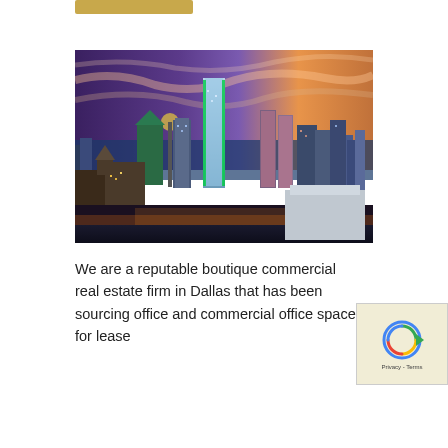[Figure (other): Gold/tan colored button or banner element at the top of the page]
[Figure (photo): Aerial cityscape photo of Dallas, Texas skyline at dusk/sunset with colorful sky (purple, orange, blue) and illuminated skyscrapers including the iconic Reunion Tower and Bank of America Plaza]
We are a reputable boutique commercial real estate firm in Dallas that has been sourcing office and commercial office space for lease